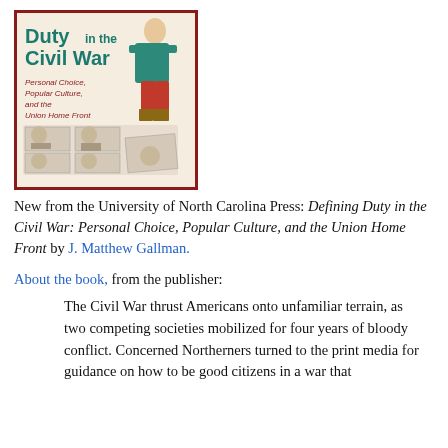[Figure (photo): Book cover of 'Defining Duty in the Civil War: Personal Choice, Popular Culture, and the Union Home Front' with a teal and red illustrated cover showing a soldier figure and portrait sketches]
New from the University of North Carolina Press: Defining Duty in the Civil War: Personal Choice, Popular Culture, and the Union Home Front by J. Matthew Gallman.
About the book, from the publisher:
The Civil War thrust Americans onto unfamiliar terrain, as two competing societies mobilized for four years of bloody conflict. Concerned Northerners turned to the print media for guidance on how to be good citizens in a war that